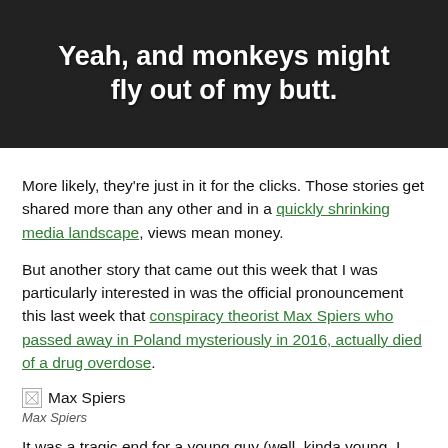[Figure (photo): Dark background image with bold white text overlay reading 'Yeah, and monkeys might fly out of my butt.']
More likely, they're just in it for the clicks. Those stories get shared more than any other and in a quickly shrinking media landscape, views mean money.
But another story that came out this week that I was particularly interested in was the official pronouncement this last week that conspiracy theorist Max Spiers who passed away in Poland mysteriously in 2016, actually died of a drug overdose.
[Figure (photo): Broken image placeholder labeled Max Spiers]
Max Spiers
It was a tragic end for a young guy (well, kinda young, I would